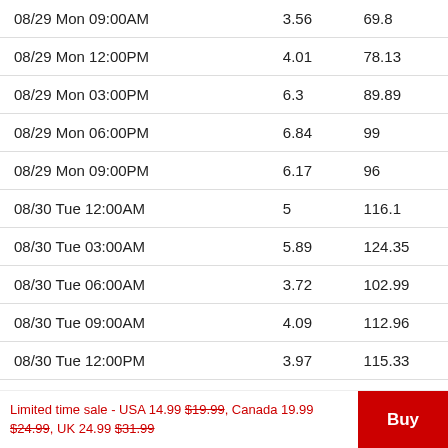|  |  |  |
| --- | --- | --- |
| 08/29 Mon 09:00AM | 3.56 | 69.8 |
| 08/29 Mon 12:00PM | 4.01 | 78.13 |
| 08/29 Mon 03:00PM | 6.3 | 89.89 |
| 08/29 Mon 06:00PM | 6.84 | 99 |
| 08/29 Mon 09:00PM | 6.17 | 96 |
| 08/30 Tue 12:00AM | 5 | 116.1 |
| 08/30 Tue 03:00AM | 5.89 | 124.35 |
| 08/30 Tue 06:00AM | 3.72 | 102.99 |
| 08/30 Tue 09:00AM | 4.09 | 112.96 |
| 08/30 Tue 12:00PM | 3.97 | 115.33 |
| 08/30 Tue 03:00PM | 6.05 | 143.12 |
| 08/30 Tue 06:00PM | 5.9 | 149.94 |
| 08/30 Tue 09:00PM | 5.61 | 132.77 |
Limited time sale - USA 14.99 $19.99, Canada 19.99 $24.99, UK 24.99 $31.99